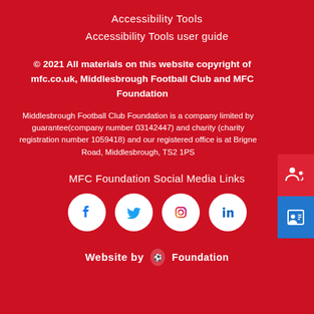Accessibility Tools
Accessibility Tools user guide
© 2021 All materials on this website copyright of mfc.co.uk, Middlesbrough Football Club and MFC Foundation
Middlesbrough Football Club Foundation is a company limited by guarantee(company number 03142447) and charity (charity registration number 1059418) and our registered office is at Brigne Road, Middlesbrough, TS2 1PS
MFC Foundation Social Media Links
[Figure (infographic): Four social media icon circles: Facebook, Twitter, Instagram, LinkedIn]
Website by Foundation